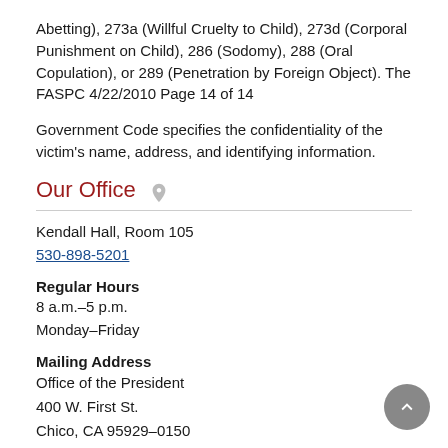Abetting), 273a (Willful Cruelty to Child), 273d (Corporal Punishment on Child), 286 (Sodomy), 288 (Oral Copulation), or 289 (Penetration by Foreign Object). The FASPC 4/22/2010 Page 14 of 14
Government Code specifies the confidentiality of the victim's name, address, and identifying information.
Our Office
Kendall Hall, Room 105
530-898-5201
Regular Hours
8 a.m.–5 p.m.
Monday–Friday
Mailing Address
Office of the President
400 W. First St.
Chico, CA 95929–0150